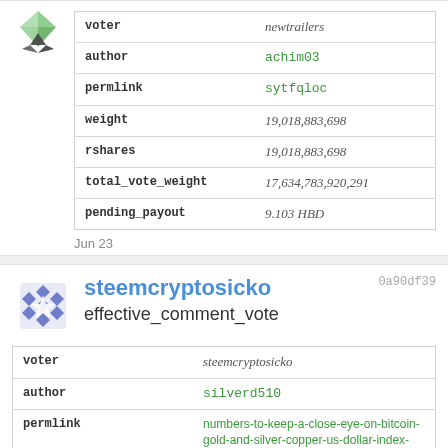| field | value |
| --- | --- |
| voter | newtrailers |
| author | achim03 |
| permlink | sytfqloc |
| weight | 19,018,883,698 |
| rshares | 19,018,883,698 |
| total_vote_weight | 17,634,783,920,291 |
| pending_payout | 9.103 HBD |
Jun 23
0a90df39
steemcryptosicko
effective_comment_vote
| field | value |
| --- | --- |
| voter | steemcryptosicko |
| author | silverd510 |
| permlink | numbers-to-keep-a-close-eye-on-bitcoin-gold-and-silver-copper-us-dollar-index-and-crude-oil-the-powers-that-be-are-scrambling |
| weight | 84,818,549,398 |
| rshares | 84,818,549,398 |
| total_vote_weight | 861,067,809,679 |
| pending_payout | 0.444 HBD |